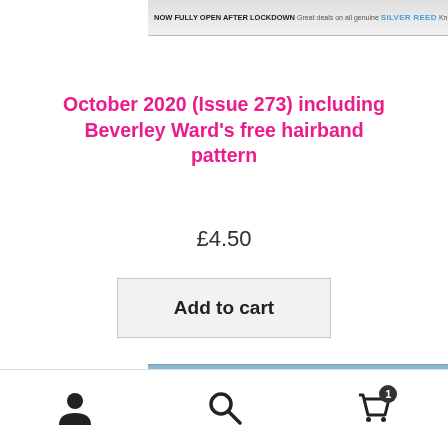NOW FULLY OPEN AFTER LOCKDOWN Great deals on all genuine SILVER REED Knitting Machines See page 2
October 2020 (Issue 273) including Beverley Ward's free hairband pattern
£4.50
Add to cart
[Figure (photo): Machine Knitting magazine cover showing 'THE HAND KNITTED LOOK IN A FRACTION OF THE TIME' with 'MACHINE KNITTING' in large white text on blue background, 'NEW!' badge, Yasman Yarns latest range now in stock See page 2, and 34 years badge]
Navigation icons: user account, search, cart (1 item)